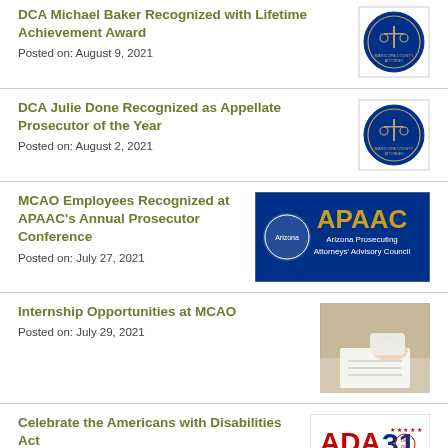DCA Michael Baker Recognized with Lifetime Achievement Award
Posted on: August 9, 2021
DCA Julie Done Recognized as Appellate Prosecutor of the Year
Posted on: August 2, 2021
MCAO Employees Recognized at APAAC's Annual Prosecutor Conference
Posted on: July 27, 2021
Internship Opportunities at MCAO
Posted on: July 29, 2021
Celebrate the Americans with Disabilities Act
Posted on: July 26, 2021